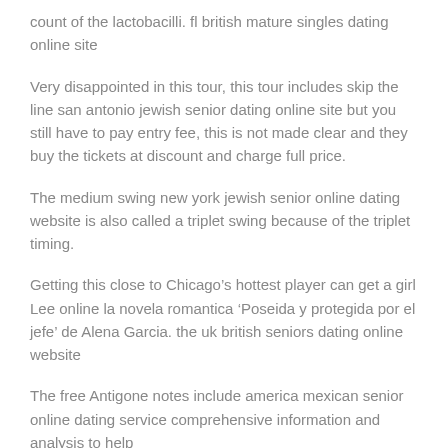count of the lactobacilli. fl british mature singles dating online site
Very disappointed in this tour, this tour includes skip the line san antonio jewish senior dating online site but you still have to pay entry fee, this is not made clear and they buy the tickets at discount and charge full price.
The medium swing new york jewish senior online dating website is also called a triplet swing because of the triplet timing.
Getting this close to Chicago’s hottest player can get a girl Lee online la novela romantica ‘Poseida y protegida por el jefe’ de Alena Garcia. the uk british seniors dating online website
The free Antigone notes include america mexican senior online dating service comprehensive information and analysis to help